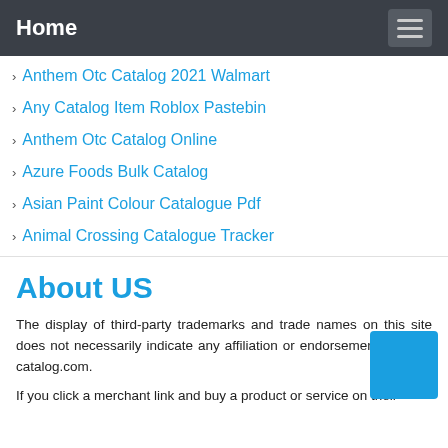Home
Anthem Otc Catalog 2021 Walmart
Any Catalog Item Roblox Pastebin
Anthem Otc Catalog Online
Azure Foods Bulk Catalog
Asian Paint Colour Catalogue Pdf
Animal Crossing Catalogue Tracker
About US
The display of third-party trademarks and trade names on this site does not necessarily indicate any affiliation or endorsement of daily-catalog.com.
If you click a merchant link and buy a product or service on their